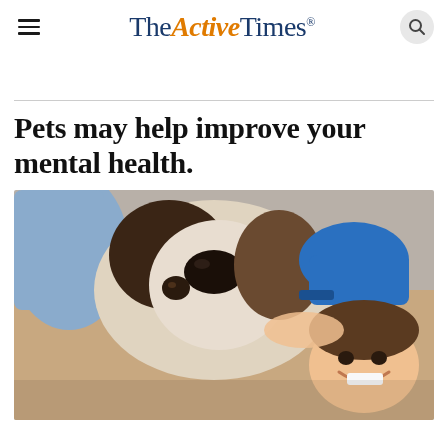The Active Times
Pets may help improve your mental health.
[Figure (photo): Child and dog lying together, the dog looking up at the camera with the child smiling beside it. The child wears a blue cap.]